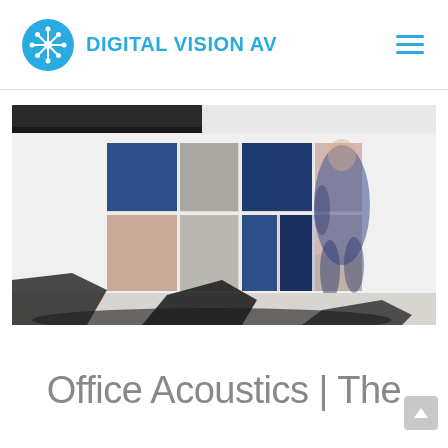DIGITAL VISION AV
[Figure (photo): An office meeting room with acoustic wall panels in blue, grey, and pink/blush colors arranged in a grid pattern. A blurred person in a blue suit is walking past. Dark leather chairs are in the foreground.]
Office Acoustics | The